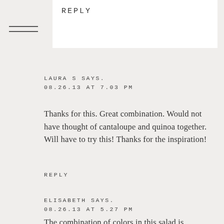REPLY
LAURA S SAYS.
08.26.13 AT 7.03 PM
Thanks for this. Great combination. Would not have thought of cantaloupe and quinoa together. Will have to try this! Thanks for the inspiration!
REPLY
ELISABETH SAYS.
08.26.13 AT 5.27 PM
The combination of colors in this salad is gorgeous! The melange of spicy arugula, sweet canteloupe, chewy quinoa, and crunchy almonds